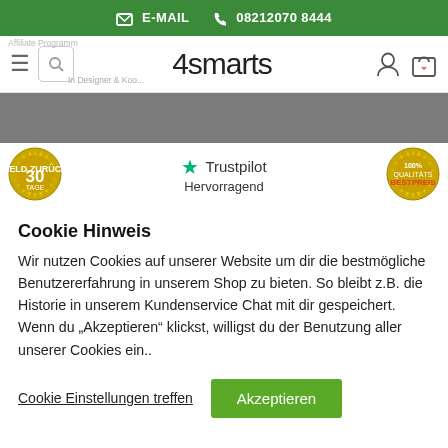E-MAIL  08212070 8444
[Figure (screenshot): 4smarts website navigation bar with hamburger menu, search icon, logo, user icon, and shopping bag icon]
[Figure (screenshot): Grey banner section with horizontal divider line, trust badges including a 30-day money back badge, Trustpilot Hervorragend rating, and a best price badge]
Cookie Hinweis
Wir nutzen Cookies auf unserer Website um dir die bestmögliche Benutzererfahrung in unserem Shop zu bieten. So bleibt z.B. die Historie in unserem Kundenservice Chat mit dir gespeichert. Wenn du "Akzeptieren" klickst, willigst du der Benutzung aller unserer Cookies ein..
Cookie Einstellungen treffen  Akzeptieren